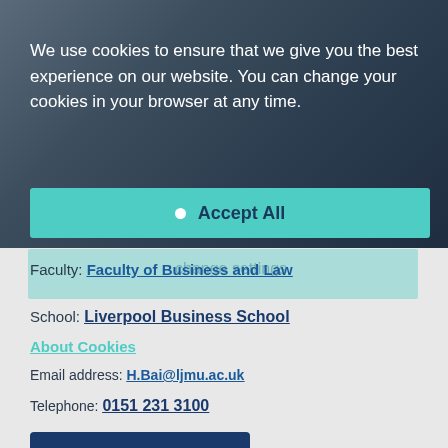We use cookies to ensure that we give you the best experience on our website. You can change your cookies in your browser at any time.
[Figure (screenshot): Cookie consent overlay with 'Accept All' button in teal/green on dark blue background over a person's photo]
Faculty: Faculty of Business and Law
School: Liverpool Business School
About Cookies
Email address: H.Bai@ljmu.ac.uk
Telephone: 0151 231 3100
[Figure (screenshot): Dark navy 'See My Tutor' button]
[Figure (screenshot): Social media icons: LinkedIn (blue), globe/website icon (grey), ORCID iD (green)]